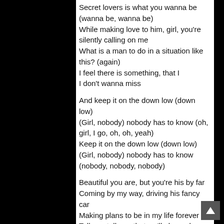Secret lovers is what you wanna be (wanna be, wanna be)
While making love to him, girl, you're silently calling on me
What is a man to do in a situation like this? (again)
I feel there is something, that I
I don't wanna miss
And keep it on the down low (down low)
(Girl, nobody) nobody has to know (oh, girl, I go, oh, oh, yeah)
Keep it on the down low (down low)
(Girl, nobody) nobody has to know (nobody, nobody, nobody)
Beautiful you are, but you're his by far
Coming by my way, driving his fancy car
Making plans to be in my life forever
Tell me, tell me, that we'll always be together
And keep it on the down low (oh, whoa, yeah)
(Nobody) nobody has to know (oh, girl, I go, oh, oh, yeah)
Keep it on the down low (down low)
(Girl, nobody) nobody has to know (nobody, nobody,